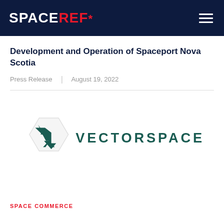SPACEREF*
Development and Operation of Spaceport Nova Scotia
Press Release | August 19, 2022
[Figure (logo): Vectorspace AI company logo — a dark teal hexagon shape with a stylized arrow/vector icon inside, followed by the text VECTORSPACE AI in bold teal capital letters]
SPACE COMMERCE